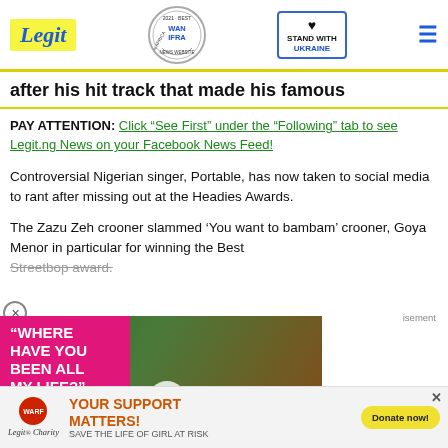Legit | WAN IFRA 2021 Best News Website in Africa | Stand with Ukraine
after his hit track that made his famous
PAY ATTENTION: Click “See First” under the “Following” tab to see Legit.ng News on your Facebook News Feed!
Controversial Nigerian singer, Portable, has now taken to social media to rant after missing out at the Headies Awards.
The Zazu Zeh crooner slammed ‘You want to bambam’ crooner, Goya Menor in particular for winning the Best Streetbop award.
[Figure (photo): Video ad overlay showing a couple (celebrity pair) with pink text 'WHERE HAVE YOU BEEN ALL MY LIFE?' and a play button]
YOUR SUPPORT MATTERS! SAVE THE LIFE OF GIRL AT RISK
Legit Charity | WARF | YOUR SUPPORT MATTERS! SAVE THE LIFE OF GIRL AT RISK | Donate now!